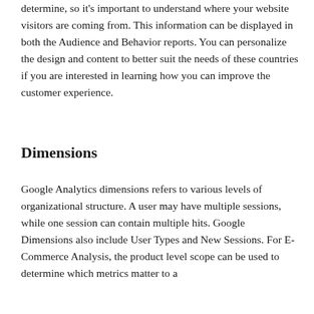determine, so it's important to understand where your website visitors are coming from. This information can be displayed in both the Audience and Behavior reports. You can personalize the design and content to better suit the needs of these countries if you are interested in learning how you can improve the customer experience.
Dimensions
Google Analytics dimensions refers to various levels of organizational structure. A user may have multiple sessions, while one session can contain multiple hits. Google Dimensions also include User Types and New Sessions. For E-Commerce Analysis, the product level scope can be used to determine which metrics matter to a